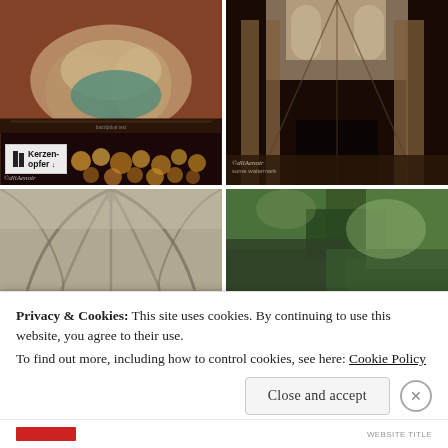[Figure (photo): Religious sculpture / Pietà group in a church, polychrome carved figures, with votive candle stand below showing sign 'Kerzen-opfer' and lit candles]
[Figure (photo): Interior of a Gothic cathedral looking toward the high altar, tall stone columns and large stained-glass windows visible]
[Figure (photo): Gothic vaulted ceiling of a cathedral, rib vaulting in stone]
[Figure (photo): Close-up of a textured stone or mineral surface with green and gray tones]
Privacy & Cookies: This site uses cookies. By continuing to use this website, you agree to their use.
To find out more, including how to control cookies, see here: Cookie Policy
Close and accept